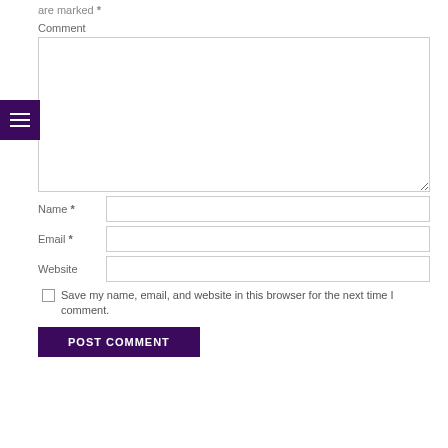are marked *
Comment
[Figure (screenshot): Comment text area input field]
Name *
Email *
Website
Save my name, email, and website in this browser for the next time I comment.
POST COMMENT